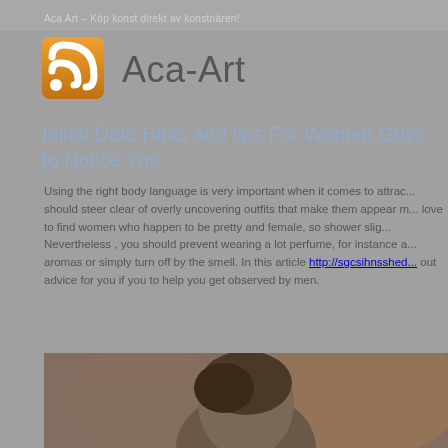Aca Art – Köp konst direkt av konstnären!
Aca-Art
Initial Date Hints and tips For Women Guys to Notice You
Using the right body language is very important when it comes to attrac... should steer clear of overly uncovering outfits that make them appear m... love to find women who happen to be pretty and female, so shower slig... Nevertheless , you should prevent wearing a lot perfume, for instance a... aromas or simply turn off by the smell. In this article http://sgcsihnsshed... out advice for you if you to help you get observed by men.
[Figure (photo): Blurred photo of a person, brown/warm background tones, partial view of a man's head]